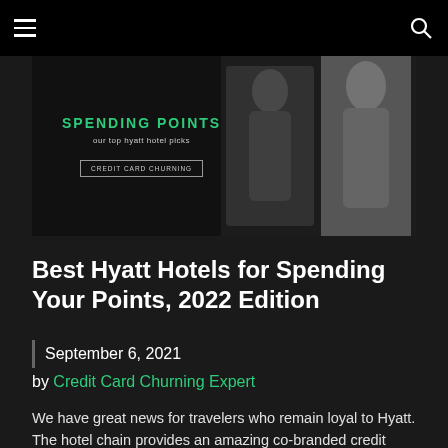≡  [navigation]  🔍
[Figure (illustration): Dark banner with 'SPENDING POINTS' in teal, 'our top hyatt hotel picks' subtitle, 'CREDIT CARD CHURNING' button, and fashion/lifestyle photos on the right]
Best Hyatt Hotels for Spending Your Points, 2022 Edition
September 6, 2021
by Credit Card Churning Expert
We have great news for travelers who remain loyal to Hyatt. The hotel chain provides an amazing co-branded credit card known as the Hyatt Credit Card. Its annual fee remains moderate, while it offers 5 elite